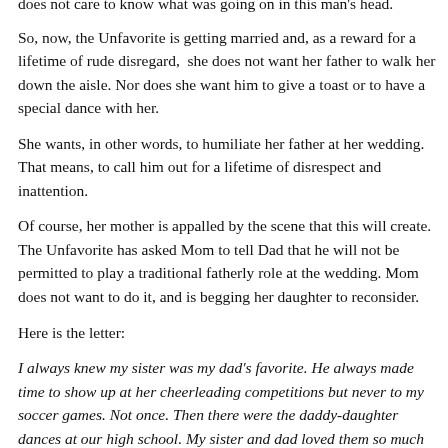does not care to know what was going on in this man's head.
So, now, the Unfavorite is getting married and, as a reward for a lifetime of rude disregard,  she does not want her father to walk her down the aisle. Nor does she want him to give a toast or to have a special dance with her.
She wants, in other words, to humiliate her father at her wedding. That means, to call him out for a lifetime of disrespect and inattention.
Of course, her mother is appalled by the scene that this will create. The Unfavorite has asked Mom to tell Dad that he will not be permitted to play a traditional fatherly role at the wedding. Mom does not want to do it, and is begging her daughter to reconsider.
Here is the letter:
I always knew my sister was my dad's favorite. He always made time to show up at her cheerleading competitions but never to my soccer games. Not once. Then there were the daddy-daughter dances at our high school. My sister and dad loved them so much